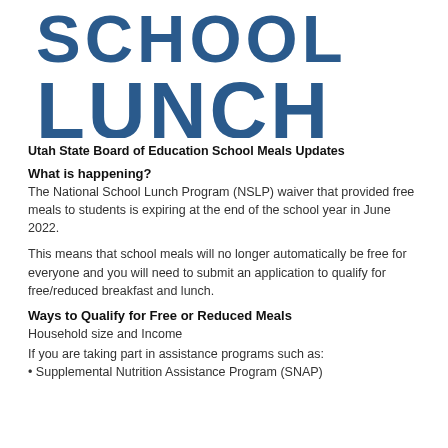[Figure (logo): Large bold blue text reading 'SCHOOL LUNCH' in a chunky slab/block font, upper portion cut off showing partial letters at top]
Utah State Board of Education School Meals Updates
What is happening?
The National School Lunch Program (NSLP) waiver that provided free meals to students is expiring at the end of the school year in June 2022.
This means that school meals will no longer automatically be free for everyone and you will need to submit an application to qualify for free/reduced breakfast and lunch.
Ways to Qualify for Free or Reduced Meals
Household size and Income
If you are taking part in assistance programs such as:
• Supplemental Nutrition Assistance Program (SNAP)